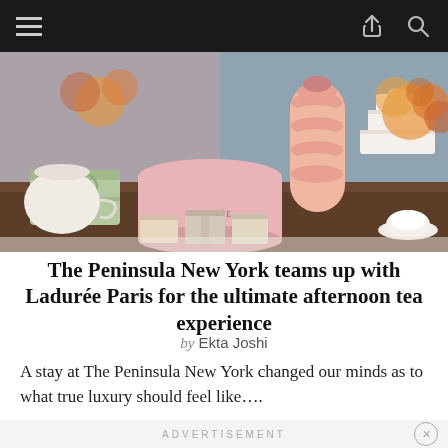Navigation bar with hamburger menu, share icon, and search icon
[Figure (photo): Overhead/table-level photo of Ladurée Paris pastry display: macaron tower, tiered white wedding cake, pink hatbox with Ladurée branding, green gift box, assorted small gift boxes, floral arrangements, teapot and teacup on a dark wood table.]
The Peninsula New York teams up with Ladurée Paris for the ultimate afternoon tea experience
by Ekta Joshi
A stay at The Peninsula New York changed our minds as to what true luxury should feel like….
ADVERTISEMENT